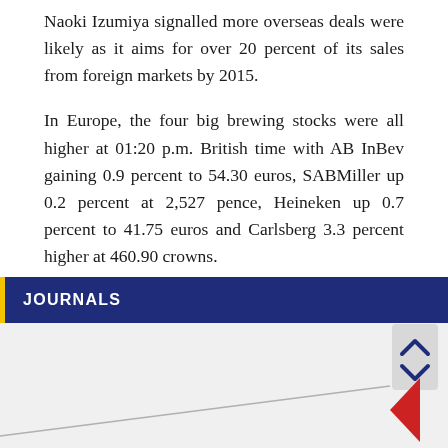Naoki Izumiya signalled more overseas deals were likely as it aims for over 20 percent of its sales from foreign markets by 2015.
In Europe, the four big brewing stocks were all higher at 01:20 p.m. British time with AB InBev gaining 0.9 percent to 54.30 euros, SABMiller up 0.2 percent at 2,527 pence, Heineken up 0.7 percent to 41.75 euros and Carlsberg 3.3 percent higher at 460.90 crowns.
TAGS: ASAHI BREWERIES, M&A IN BEER INDUSTRY
JOURNALS
[Figure (continuous-plot): Partial view of a line/area chart with a red downward triangle marker visible in lower right corner, chart partially cut off at bottom of page]